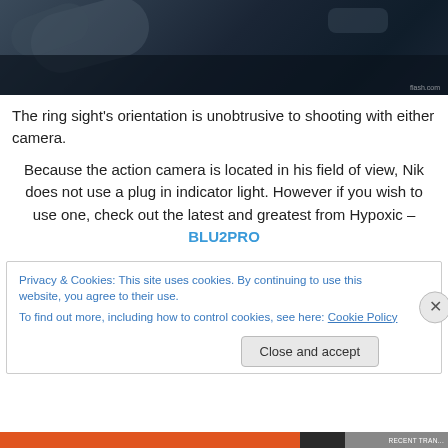[Figure (photo): Close-up photo of a skydiver helmet with camera mount and Cookie brand labeling, dark blue-gray tones]
The ring sight's orientation is unobtrusive to shooting with either camera.
Because the action camera is located in his field of view, Nik does not use a plug in indicator light. However if you wish to use one, check out the latest and greatest from Hypoxic – BLU2PRO
Privacy & Cookies: This site uses cookies. By continuing to use this website, you agree to their use.
To find out more, including how to control cookies, see here: Cookie Policy